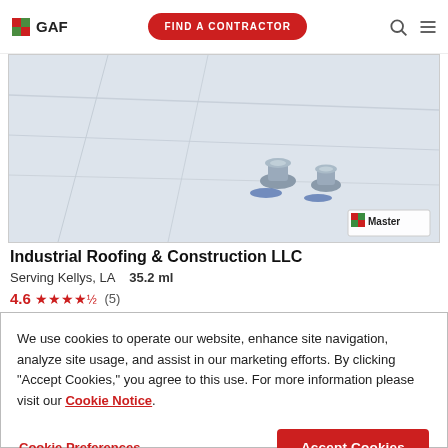GAF | FIND A CONTRACTOR
[Figure (photo): Flat white roofing surface with two metal vent caps/turbines visible, photographed from above. A GAF Master badge appears in the bottom-right corner of the image.]
Industrial Roofing & Construction LLC
Serving Kellys, LA   35.2 ml
4.6 ★★★★½ (5)
We use cookies to operate our website, enhance site navigation, analyze site usage, and assist in our marketing efforts. By clicking "Accept Cookies," you agree to this use. For more information please visit our Cookie Notice.
Cookie Preferences | Accept Cookies